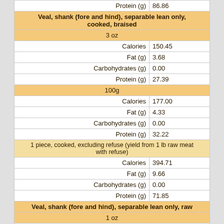| Nutrient | Value |
| --- | --- |
| Protein (g) | 86.86 |
| Veal, shank (fore and hind), separable lean only, cooked, braised |  |
| 3 oz |  |
| Calories | 150.45 |
| Fat (g) | 3.68 |
| Carbohydrates (g) | 0.00 |
| Protein (g) | 27.39 |
| 100g |  |
| Calories | 177.00 |
| Fat (g) | 4.33 |
| Carbohydrates (g) | 0.00 |
| Protein (g) | 32.22 |
| 1 piece, cooked, excluding refuse (yield from 1 lb raw meat with refuse) |  |
| Calories | 394.71 |
| Fat (g) | 9.66 |
| Carbohydrates (g) | 0.00 |
| Protein (g) | 71.85 |
| Veal, shank (fore and hind), separable lean only, raw |  |
| 1 oz |  |
| Calories | 30.62 |
| Fat (g) | 0.80 |
| Carbohydrates (g) | 0.00 |